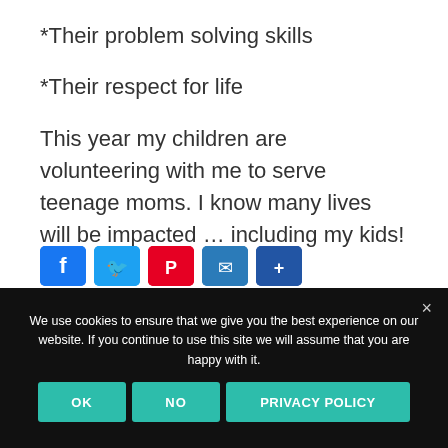*Their problem solving skills
*Their respect for life
This year my children are volunteering with me to serve teenage moms. I know many lives will be impacted ... including my kids!
We use cookies to ensure that we give you the best experience on our website. If you continue to use this site we will assume that you are happy with it.
OK  NO  PRIVACY POLICY